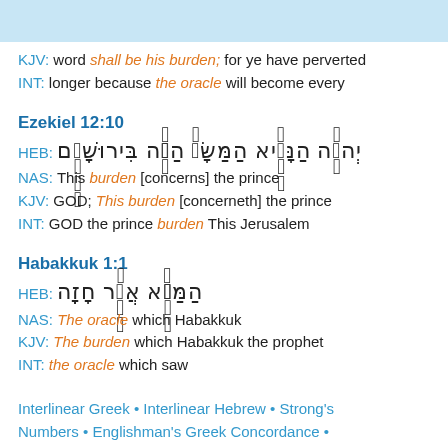KJV: word shall be his burden; for ye have perverted
INT: longer because the oracle will become every
Ezekiel 12:10
HEB: יְהוָ֗ה הַנָּשִׂ֤יא הַמַּשָּׂא֙ הַזֶּ֔ה בִּירוּשָׁלִַ֖ם
NAS: This burden [concerns] the prince
KJV: GOD; This burden [concerneth] the prince
INT: GOD the prince burden This Jerusalem
Habakkuk 1:1
HEB: הַמַּשָּׂ֖א אֲשֶׁ֥ר חָזָֽה
NAS: The oracle which Habakkuk
KJV: The burden which Habakkuk the prophet
INT: the oracle which saw
Interlinear Greek • Interlinear Hebrew • Strong's Numbers • Englishman's Greek Concordance •